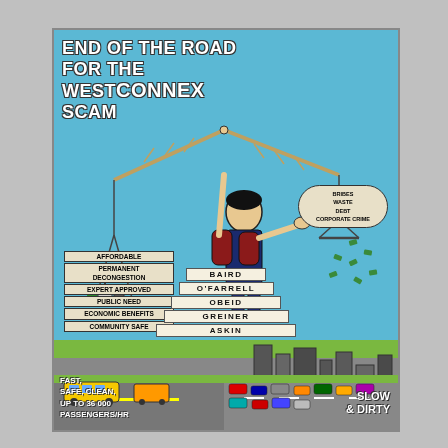[Figure (illustration): A protest poster/mural photographed in an indoor setting. The poster has a bright blue background and shows a cartoon woman holding up a balance scale. On the left pan of the scale are positive items labeled: AFFORDABLE, PERMANENT DECONGESTION, EXPERT APPROVED, PUBLIC NEED, ECONOMIC BENEFITS, COMMUNITY SAFE. On the right pan are negative items: BRIBES, WASTE, DEBT, CORPORATE CRIME. Money (banknotes) are flying out of the right pan. The woman stands on a pyramid of politicians' names: BAIRD, O'FARRELL, OBEID, GREINER, ASKIN. In the background is a cityscape. At the bottom left is a train (FAST, SAFE, CLEAN, UP TO 36,000 PASSENGERS/HR). At the bottom right is a congested road (SLOW & DIRTY). The title reads: END OF THE ROAD FOR THE WestCONNEX SCAM.]